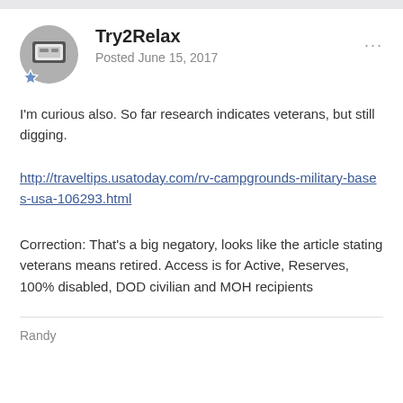Try2Relax
Posted June 15, 2017
I'm curious also. So far research indicates veterans, but still digging.
http://traveltips.usatoday.com/rv-campgrounds-military-bases-usa-106293.html
Correction: That's a big negatory, looks like the article stating veterans means retired. Access is for Active, Reserves, 100% disabled, DOD civilian and MOH recipients
Randy